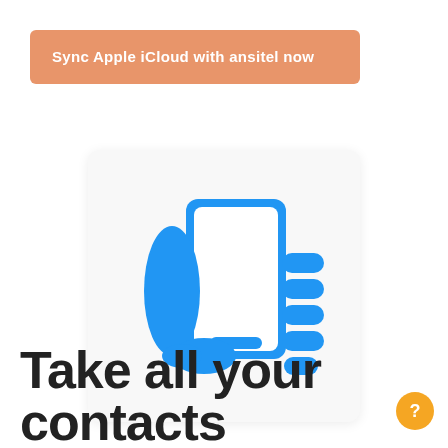Sync Apple iCloud with ansitel now
[Figure (illustration): Blue smartphone held in a hand icon on a light gray background]
Take all your contacts